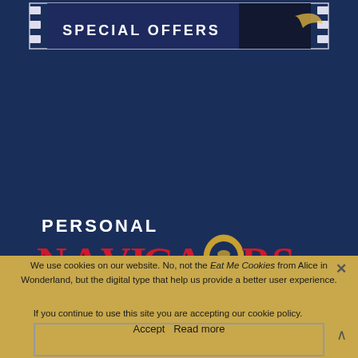[Figure (screenshot): Top partial screenshot showing a navy blue banner with 'SPECIAL OFFERS' text in white, with film-strip style borders on left and right sides.]
[Figure (logo): Personal Navigators logo: 'PERSONAL' in white bold text above 'NAVIGATORS' in large red serif letters with gold circular emblem replacing the O, all on dark navy background.]
We use cookies on our website. No, not the Eat Me Cookies from Alice in Wonderland, but the digital type that help us provide a better user experience.
If you continue to use this site you are accepting our cookie policy.
Accept   Read more
Find Your Cruise